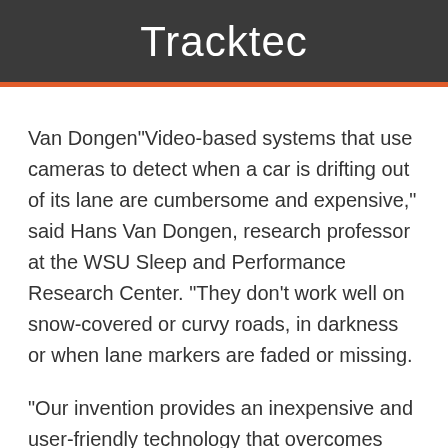Tracktec
Van Dongen"Video-based systems that use cameras to detect when a car is drifting out of its lane are cumbersome and expensive," said Hans Van Dongen, research professor at the WSU Sleep and Performance Research Center. "They don't work well on snow-covered or curvy roads, in darkness or when lane markers are faded or missing.
"Our invention provides an inexpensive and user-friendly technology that overcomes these limitations and can help catch fatigue earlier, well before accidents are likely to happen," said Van Dongen, who developed the technology with postdoctoral research fellow Pia Forsman.